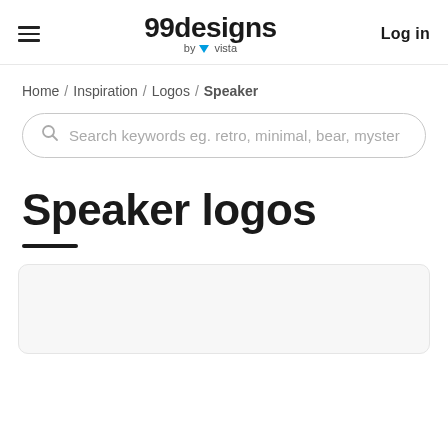99designs by vista — Log in
Home / Inspiration / Logos / Speaker
Search keywords eg. retro, minimal, bear, myster
Speaker logos
[Figure (other): Partially visible logo card at the bottom of the page]